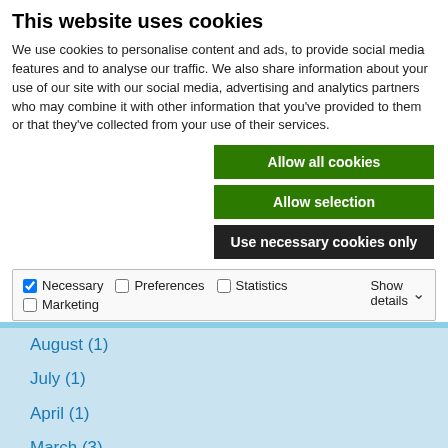This website uses cookies
We use cookies to personalise content and ads, to provide social media features and to analyse our traffic. We also share information about your use of our site with our social media, advertising and analytics partners who may combine it with other information that you've provided to them or that they've collected from your use of their services.
Allow all cookies
Allow selection
Use necessary cookies only
Necessary  Preferences  Statistics  Marketing  Show details
August (1)
July (1)
April (1)
March (3)
February (1)
January (1)
2016 (1)